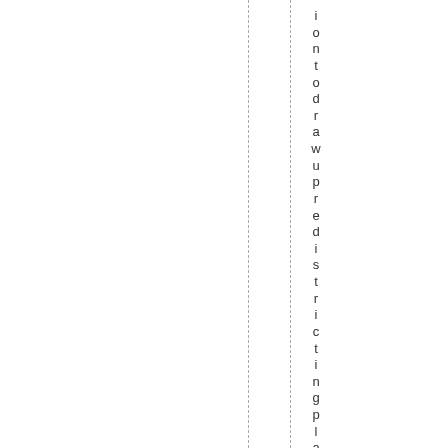iontodrawupredistrictingplansf